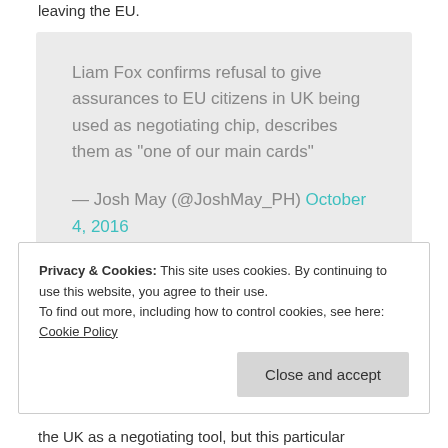leaving the EU.
Liam Fox confirms refusal to give assurances to EU citizens in UK being used as negotiating chip, describes them as "one of our main cards"

— Josh May (@JoshMay_PH) October 4, 2016
Privacy & Cookies: This site uses cookies. By continuing to use this website, you agree to their use.
To find out more, including how to control cookies, see here: Cookie Policy
the UK as a negotiating tool, but this particular